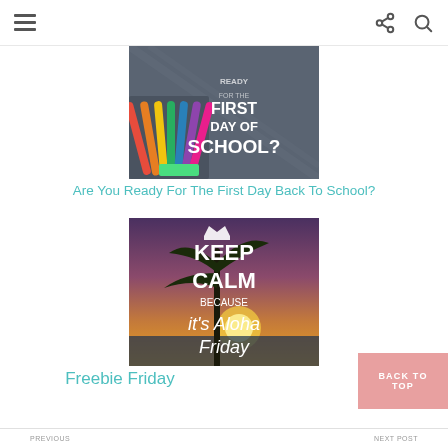Navigation menu with hamburger icon, share icon, and search icon
[Figure (photo): Colored pencils fanned out on a chalkboard with text 'Are you ready for the first day of school?']
Are You Ready For The First Day Back To School?
[Figure (photo): Keep Calm because it's Aloha Friday poster with tropical sunset beach background]
Freebie Friday
BACK TO TOP
PREVIOUS | NEXT